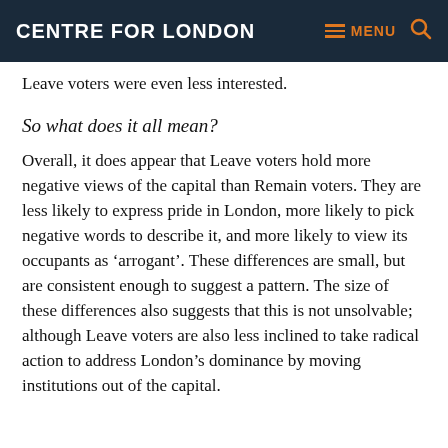CENTRE FOR LONDON
Leave voters were even less interested.
So what does it all mean?
Overall, it does appear that Leave voters hold more negative views of the capital than Remain voters. They are less likely to express pride in London, more likely to pick negative words to describe it, and more likely to view its occupants as ‘arrogant’. These differences are small, but are consistent enough to suggest a pattern. The size of these differences also suggests that this is not unsolvable; although Leave voters are also less inclined to take radical action to address London’s dominance by moving institutions out of the capital.